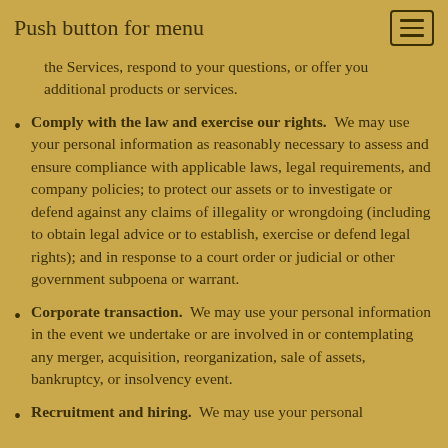Push button for menu
the Services, respond to your questions, or offer you additional products or services.
Comply with the law and exercise our rights.  We may use your personal information as reasonably necessary to assess and ensure compliance with applicable laws, legal requirements, and company policies; to protect our assets or to investigate or defend against any claims of illegality or wrongdoing (including to obtain legal advice or to establish, exercise or defend legal rights); and in response to a court order or judicial or other government subpoena or warrant.
Corporate transaction.  We may use your personal information in the event we undertake or are involved in or contemplating any merger, acquisition, reorganization, sale of assets, bankruptcy, or insolvency event.
Recruitment and hiring.  We may use your personal